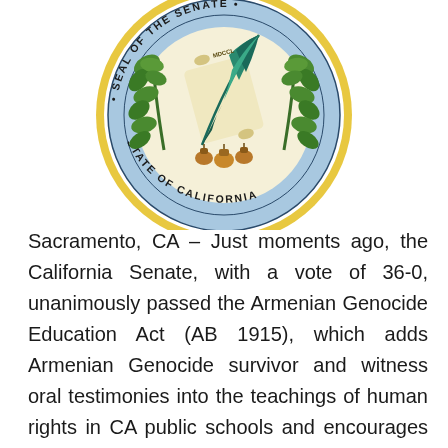[Figure (logo): Seal of the State of California - circular seal with gold border, blue inner ring with text 'SEAL OF THE SENATE STATE OF CALIFORNIA', featuring green oak leaves, a scroll with a quill feather, and acorns in the center]
Sacramento, CA – Just moments ago, the California Senate, with a vote of 36-0, unanimously passed the Armenian Genocide Education Act (AB 1915), which adds Armenian Genocide survivor and witness oral testimonies into the teachings of human rights in CA public schools and encourages state and local professional development activities to provide teachers with resources to teach about the Genocide, reported the Armenian National Committee of America